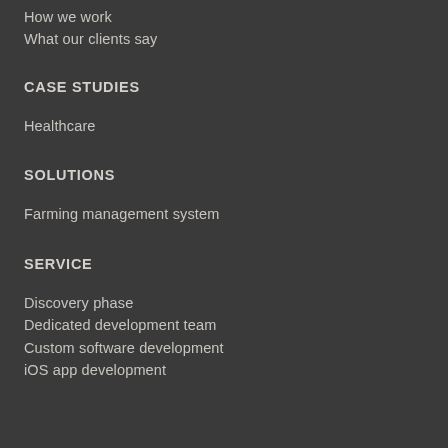How we work
What our clients say
CASE STUDIES
Healthcare
SOLUTIONS
Farming management system
SERVICE
Discovery phase
Dedicated development team
Custom software development
iOS app development